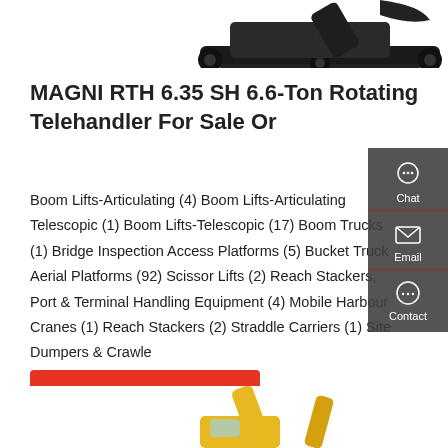[Figure (photo): Top portion of a dark-colored excavator/tracked machine, cropped at upper edge of page]
MAGNI RTH 6.35 SH 6.6-Ton Rotating Telehandler For Sale Or
Boom Lifts-Articulating (4) Boom Lifts-Articulating Telescopic (1) Boom Lifts-Telescopic (17) Boom Trucks (1) Bridge Inspection Access Platforms (5) Bucket Truck Aerial Platforms (92) Scissor Lifts (2) Reach Stackers, Port & Terminal Handling Equipment (4) Mobile Harbour Cranes (1) Reach Stackers (2) Straddle Carriers (1) Site Dumpers & Crawle
[Figure (screenshot): Side panel with Chat, Email, and Contact icons on dark grey background]
[Figure (photo): Bottom portion of a yellow construction machine/excavator, cropped at lower edge of page]